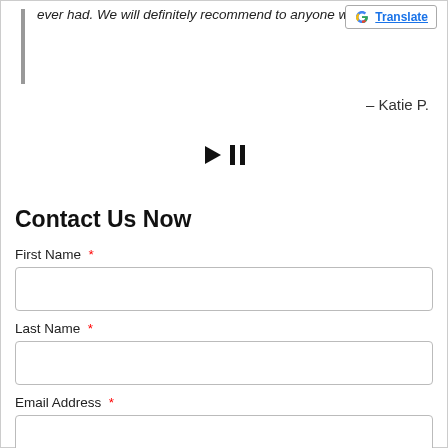ever had.  We will definitely recommend to anyone we can!""
– Katie P.
[Figure (other): Media play/pause controls: play triangle and pause bars icons]
Contact Us Now
First Name *
Last Name *
Email Address *